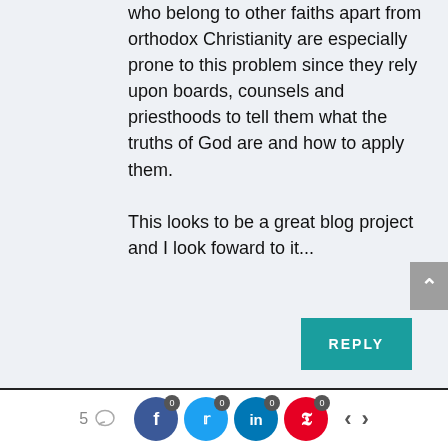who belong to other faiths apart from orthodox Christianity are especially prone to this problem since they rely upon boards, counsels and priesthoods to tell them what the truths of God are and how to apply them.

This looks to be a great blog project and I look foward to it...
[Figure (screenshot): Reply button (teal background, white text 'REPLY') and scroll-to-top arrow button (grey). Footer bar with comment count (5), social share icons for Facebook, Twitter, LinkedIn, Pinterest each with badge count 0, and navigation arrows.]